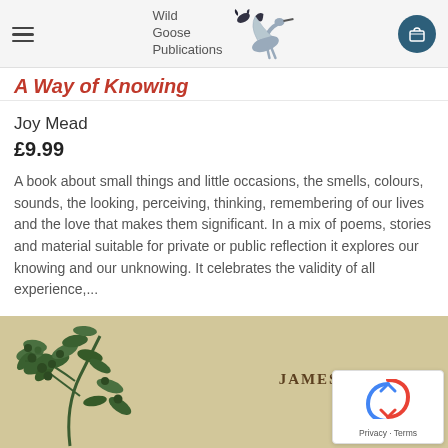Wild Goose Publications
A Way of Knowing
Joy Mead
£9.99
A book about small things and little occasions, the smells, colours, sounds, the looking, perceiving, thinking, remembering of our lives and the love that makes them significant. In a mix of poems, stories and material suitable for private or public reflection it explores our knowing and our unknowing. It celebrates the validity of all experience,...
[Figure (illustration): Book cover showing botanical illustration with green leaves/berries on a tan/parchment background with text 'JAMES HARPUR']